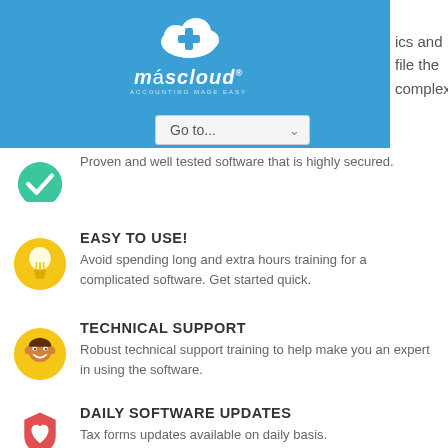[Figure (logo): MásCloud logo — cloud with plus sign, text 'máscloud' and 'ACCOUNTING MADE EASY' below, on blue banner]
ics and file the complex
Go to...
Proven and well tested software that is highly secured.
EASY TO USE!
Avoid spending long and extra hours training for a complicated software. Get started quick.
TECHNICAL SUPPORT
Robust technical support training to help make you an expert in using the software.
DAILY SOFTWARE UPDATES
Tax forms updates available on daily basis.